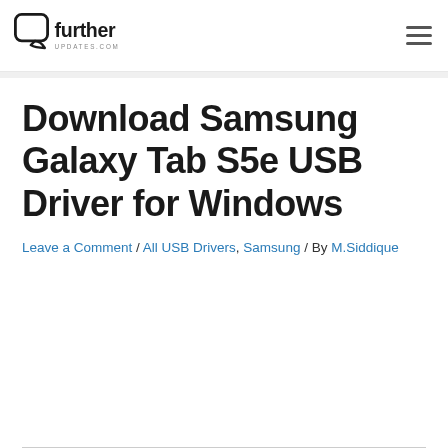furtherupdates.com — site navigation header with logo and hamburger menu
Download Samsung Galaxy Tab S5e USB Driver for Windows
Leave a Comment / All USB Drivers, Samsung / By M.Siddique